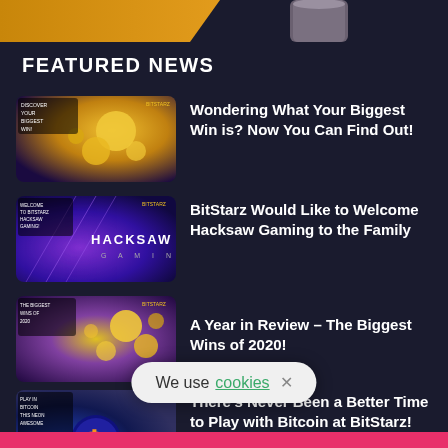[Figure (screenshot): Top banner with golden gradient and dark overlay with cylinder shape]
FEATURED NEWS
[Figure (illustration): Thumbnail: coins and golden light, text 'DISCOVER YOUR BIGGEST WIN!']
Wondering What Your Biggest Win is? Now You Can Find Out!
[Figure (illustration): Thumbnail: WELCOME TO BITSTARZ HACKSAW GAMING purple background with Hacksaw logo]
BitStarz Would Like to Welcome Hacksaw Gaming to the Family
[Figure (illustration): Thumbnail: THE BIGGEST WINS OF 2020 - coins floating]
A Year in Review – The Biggest Wins of 2020!
[Figure (illustration): Thumbnail: PLAY IN BITCOIN THIS NEON AWESOME - blue space with bitcoin logo]
There's Never Been a Better Time to Play with Bitcoin at BitStarz!
[Figure (illustration): Thumbnail: A HUGE CASINO JACKPOT WIN - teal background with character]
Bank B... Mega €61,549 Big Win!
We use cookies ×